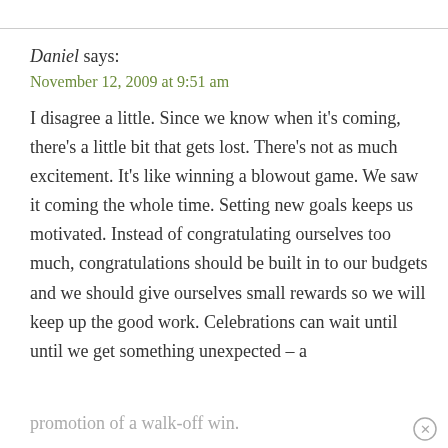Daniel says:
November 12, 2009 at 9:51 am
I disagree a little. Since we know when it's coming, there's a little bit that gets lost. There's not as much excitement. It's like winning a blowout game. We saw it coming the whole time. Setting new goals keeps us motivated. Instead of congratulating ourselves too much, congratulations should be built in to our budgets and we should give ourselves small rewards so we will keep up the good work. Celebrations can wait until until we get something unexpected – a promotion of a walk-off win.